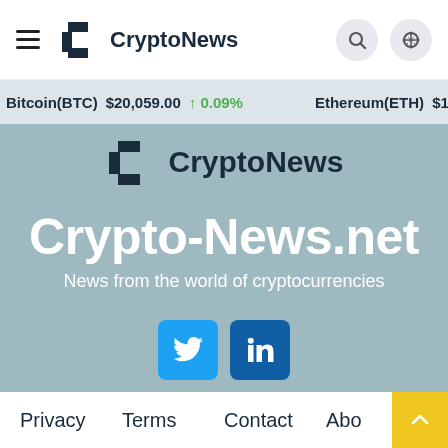CryptoNews
Bitcoin(BTC) $20,059.00 ↑ 0.09% Ethereum(ETH) $1,492.72 ↑
[Figure (logo): CryptoNews logo with pixelated C icon and CryptoNews text]
Crypto-News.net
News from the world of cryptocurrencies
[Figure (other): Social media buttons: Twitter (blue bird) and LinkedIn (dark blue in square)]
Privacy   Terms   Contact   Abo...